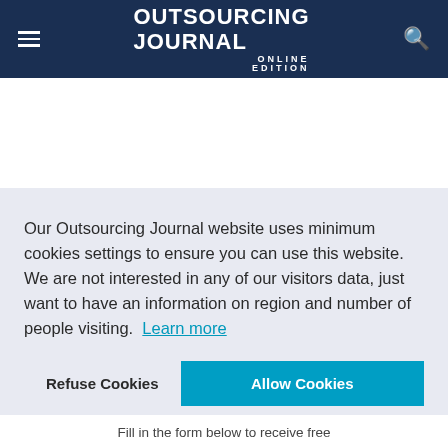OUTSOURCING JOURNAL ONLINE EDITION
Our Outsourcing Journal website uses minimum cookies settings to ensure you can use this website. We are not interested in any of our visitors data, just want to have an information on region and number of people visiting.  Learn more
Refuse Cookies   Allow Cookies
Fill in the form below to receive free